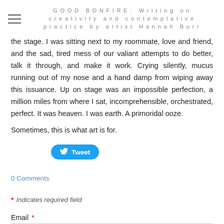GOOD BONFIRE: Writing on creativity and contemplative practice by artist Hannah Burr
the stage. I was sitting next to my roommate, love and friend, and the sad, tired mess of our valiant attempts to do better, talk it through, and make it work. Crying silently, mucus running out of my nose and a hand damp from wiping away this issuance. Up on stage was an impossible perfection, a million miles from where I sat, incomprehensible, orchestrated, perfect. It was heaven. I was earth. A primoridal ooze.
Sometimes, this is what art is for.
[Figure (other): Twitter Tweet button — blue rounded rectangle with bird icon and 'Tweet' text]
0 Comments
* Indicates required field
Email *